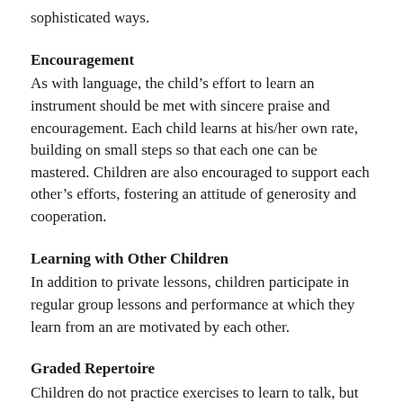sophisticated ways.
Encouragement
As with language, the child’s effort to learn an instrument should be met with sincere praise and encouragement. Each child learns at his/her own rate, building on small steps so that each one can be mastered. Children are also encouraged to support each other’s efforts, fostering an attitude of generosity and cooperation.
Learning with Other Children
In addition to private lessons, children participate in regular group lessons and performance at which they learn from an are motivated by each other.
Graded Repertoire
Children do not practice exercises to learn to talk, but use language for its natural purpose of communication and self-expression. Pieces in the Suzuki repertoire are designed to present technical problems to be learned in